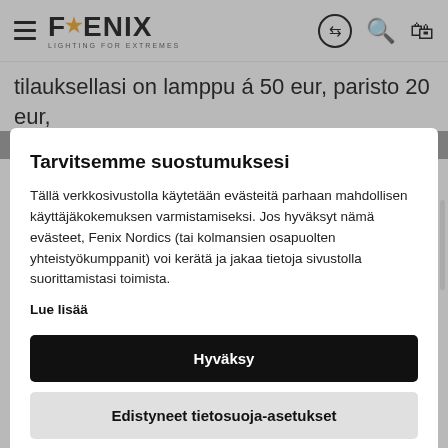Fenix Lighting for Extremes — navigation header
tilauksellasi on lamppu á 50 eur, paristo 20 eur,
Tarvitsemme suostumuksesi
Tällä verkkosivustolla käytetään evästeitä parhaan mahdollisen käyttäjäkokemuksen varmistamiseksi. Jos hyväksyt nämä evästeet, Fenix Nordics (tai kolmansien osapuolten yhteistyökumppanit) voi kerätä ja jakaa tietoja sivustolla suorittamistasi toimista.
Lue lisää
Hyväksy
Edistyneet tietosuoja-asetukset
ostokvittisi tar jos kvitti on hukkunut, nittaa, että